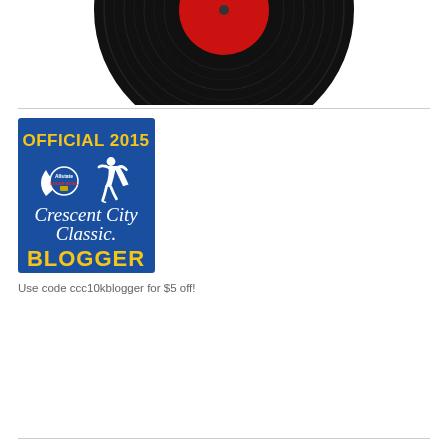[Figure (illustration): Top portion of a vinyl record with red center label, showing bottom half cropped]
[Figure (logo): Official 2015 Crescent City Classic Blogger badge on blue background with yellow text, white running figure, and Allstate Sugar Bowl logo]
Use code ccc10kblogger for $5 off!